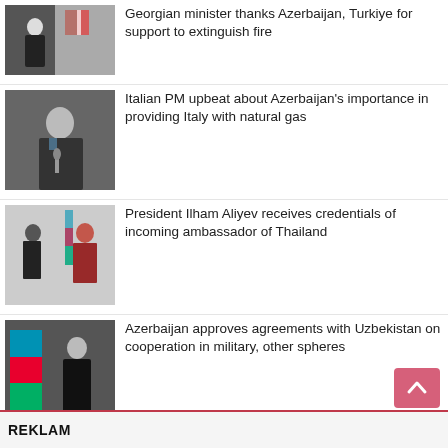[Figure (photo): Georgian minister at podium with Georgian flag]
Georgian minister thanks Azerbaijan, Turkiye for support to extinguish fire
[Figure (photo): Italian PM Mario Draghi at podium]
Italian PM upbeat about Azerbaijan's importance in providing Italy with natural gas
[Figure (photo): President Ilham Aliyev receiving credentials from ambassador]
President Ilham Aliyev receives credentials of incoming ambassador of Thailand
[Figure (photo): Ilham Aliyev with Azerbaijani flag]
Azerbaijan approves agreements with Uzbekistan on cooperation in military, other spheres
[Figure (photo): Gas pipeline infrastructure with gauges and valves]
Bulgaria to mull gas supplies with Azerbaijan
REKLAM